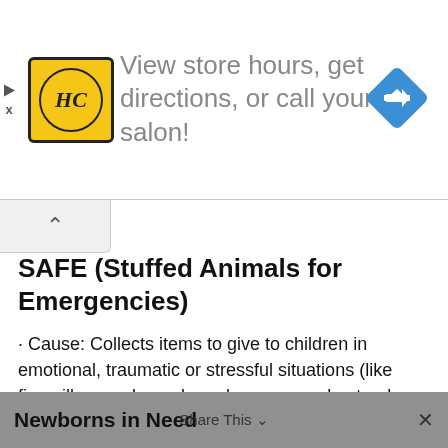[Figure (screenshot): Advertisement banner for a hair salon chain (HC logo, yellow circle with serif HC initials), with text 'View store hours, get directions, or call your salon!' and a blue navigation diamond icon on the right.]
SAFE (Stuffed Animals for Emergencies)
· Cause: Collects items to give to children in emotional, traumatic or stressful situations (like fires, illness, abuse, homelessness and natural disasters)
· What: New or gently used stuffed animals, children's books, blankets, clothing, outerwear (varies by chapter)
· How: Find your local chapter for info.
Newborns in Need  Share This  ×